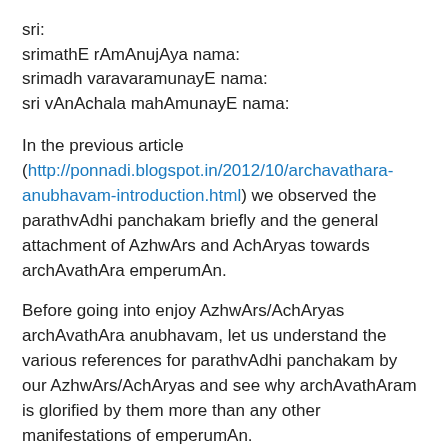sri:
srimathE rAmAnujAya nama:
srimadh varavaramunayE nama:
sri vAnAchala mahAmunayE nama:
In the previous article (http://ponnadi.blogspot.in/2012/10/archavathara-anubhavam-introduction.html) we observed the parathvAdhi panchakam briefly and the general attachment of AzhwArs and AchAryas towards archAvathAra emperumAn.
Before going into enjoy AzhwArs/AchAryas archAvathAra anubhavam, let us understand the various references for parathvAdhi panchakam by our AzhwArs/AchAryas and see why archAvathAram is glorified by them more than any other manifestations of emperumAn.
[Figure (illustration): Decorative religious illustration showing stylized figures or elephants in traditional South Indian temple art style with ornamental borders, in blue, gold, and red tones.]